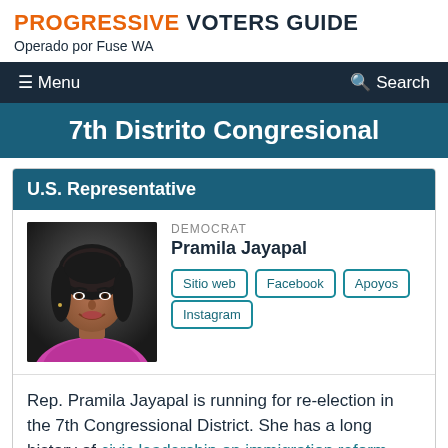PROGRESSIVE VOTERS GUIDE
Operado por Fuse WA
Menu  Search
7th Distrito Congresional
U.S. Representative
[Figure (photo): Headshot photo of Pramila Jayapal, a woman with dark hair, smiling, wearing a bright purple/magenta top, against a dark background.]
DEMOCRAT
Pramila Jayapal
Sitio web
Facebook
Apoyos
Instagram
Rep. Pramila Jayapal is running for re-election in the 7th Congressional District. She has a long history of civic leadership on immigration reform, economic